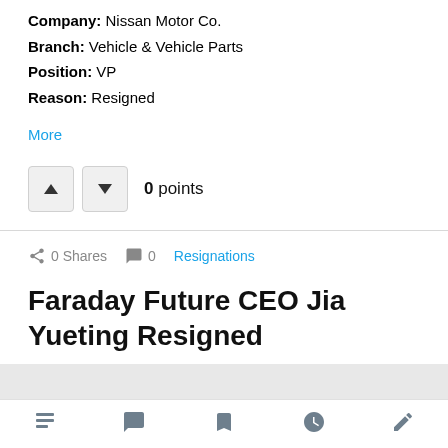Company: Nissan Motor Co.
Branch: Vehicle & Vehicle Parts
Position: VP
Reason: Resigned
More
0 points
0 Shares  0  Resignations
Faraday Future CEO Jia Yueting Resigned